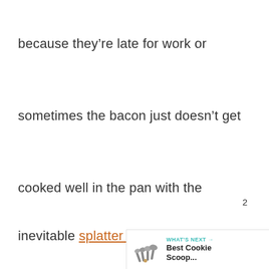because they're late for work or
sometimes the bacon just doesn't get
cooked well in the pan with the
inevitable splatter of oil.
[Figure (other): Teal circular heart/like button, like count '2', and share button icons on right side]
[Figure (other): What's Next widget showing measuring spoons image with text 'WHAT'S NEXT → Best Cookie Scoop...']